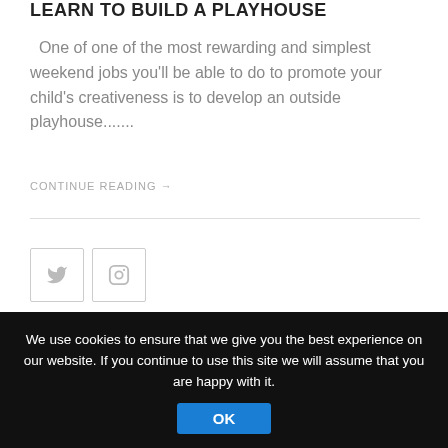LEARN TO BUILD A PLAYHOUSE
One of one of the most rewarding and simplest weekend jobs you'll be able to do to promote your child's creativeness is to develop an outside playhouse.......
CONTINUE READING →
[Figure (other): Twitter and Instagram social media icon buttons with light grey borders]
[Figure (other): Popular and Recent tab bar with flame icon for Popular and leaf icon for Recent]
[Figure (photo): Architectural photo looking up through a curved glass and steel roof structure with blue sky]
We use cookies to ensure that we give you the best experience on our website. If you continue to use this site we will assume that you are happy with it. OK